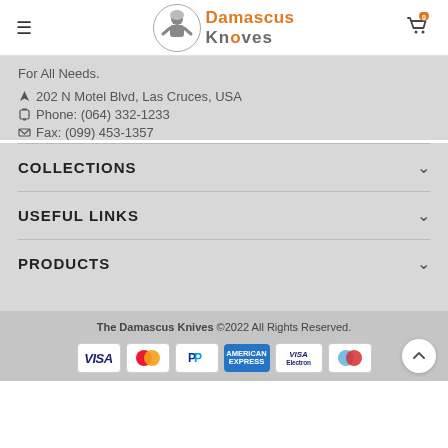[Figure (logo): Damascus Knives logo with chef figure in circle and orange/gray text]
For All Needs.
202 N Motel Blvd, Las Cruces, USA
Phone: (064) 332-1233
Fax: (099) 453-1357
COLLECTIONS
USEFUL LINKS
PRODUCTS
The Damascus Knives ©2022 All Rights Reserved.
[Figure (other): Payment method icons: VISA, MasterCard, PayPal, American Express, VISA Electron, Maestro]